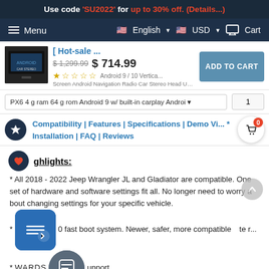Use code 'SU2022' for up to 30% off. (Details...)
Menu | English | USD | Cart
[Figure (screenshot): Product listing for Hot-sale Android car stereo head unit showing thumbnail, price $1,299.99 crossed out, new price $714.99, ADD TO CART button, star rating, and product subtitle]
PX6 4 g ram 64 g rom Android 9 w/ built-in carplay Androi  1
Compatibility | Features | Specifications | Demo Vi... * Installation | FAQ | Reviews
ghlights:
* All 2018 - 2022 Jeep Wrangler JL and Gladiator are compatible. One set of hardware and software settings fit all. No longer need to worry about changing settings for your specific vehicle.
* ...0 fast boot system. Newer, safer, more compatible ...te r...
* ...WARDS ...upport.
* More OEM features, including Off-